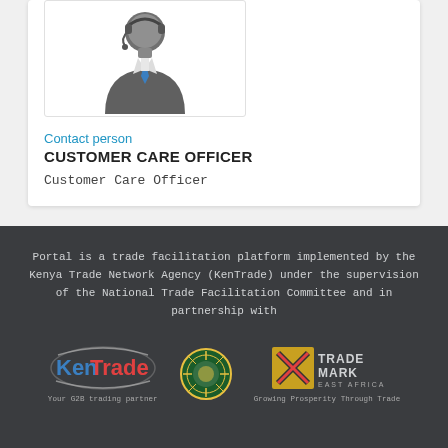[Figure (illustration): Customer care officer avatar: person in grey suit with blue tie and headset microphone]
Contact person
CUSTOMER CARE OFFICER
Customer Care Officer
Portal is a trade facilitation platform implemented by the Kenya Trade Network Agency (KenTrade) under the supervision of the National Trade Facilitation Committee and in partnership with
[Figure (logo): KenTrade logo with tagline: Your G2B trading partner]
[Figure (logo): COMESA circular emblem logo]
[Figure (logo): TradeMark East Africa logo with tagline: Growing Prosperity Through Trade]